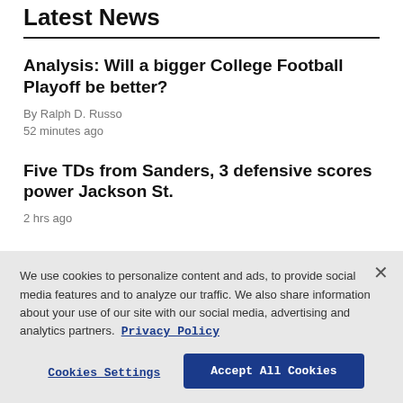Latest News
Analysis: Will a bigger College Football Playoff be better?
By Ralph D. Russo
52 minutes ago
Five TDs from Sanders, 3 defensive scores power Jackson St.
2 hrs ago
We use cookies to personalize content and ads, to provide social media features and to analyze our traffic. We also share information about your use of our site with our social media, advertising and analytics partners. Privacy Policy
Cookies Settings | Accept All Cookies